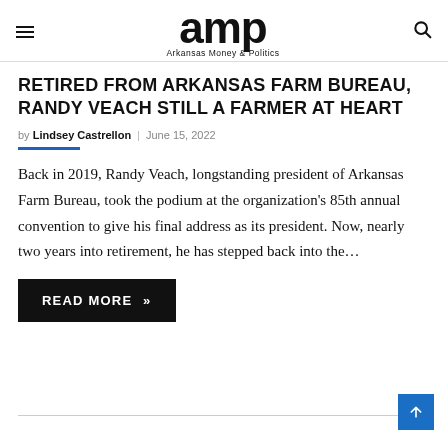amp — Arkansas Money & Politics
RETIRED FROM ARKANSAS FARM BUREAU, RANDY VEACH STILL A FARMER AT HEART
by Lindsey Castrellon | June 15, 2022
Back in 2019, Randy Veach, longstanding president of Arkansas Farm Bureau, took the podium at the organization's 85th annual convention to give his final address as its president. Now, nearly two years into retirement, he has stepped back into the...
READ MORE »